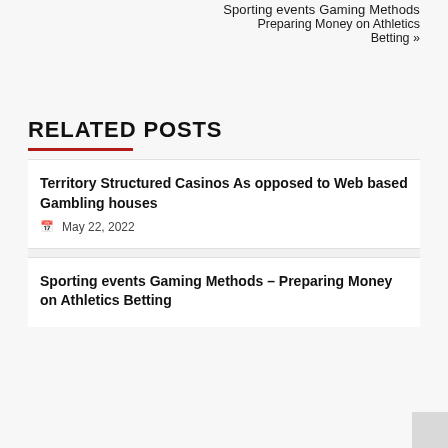Sporting events Gaming Methods
Preparing Money on Athletics Betting »
RELATED POSTS
Territory Structured Casinos As opposed to Web based Gambling houses
May 22, 2022
Sporting events Gaming Methods – Preparing Money on Athletics Betting